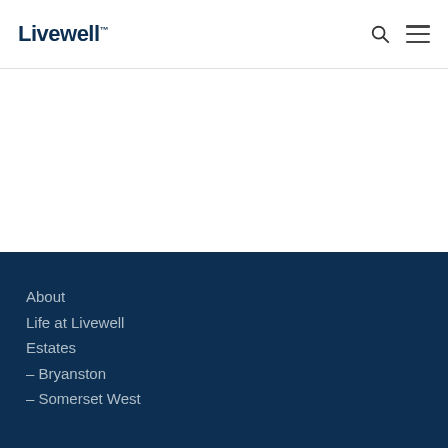Livewell
About
Life at Livewell
Estates
– Bryanston
– Somerset West